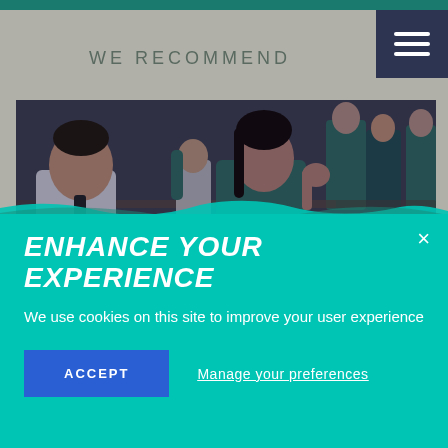WE RECOMMEND
[Figure (photo): Students in school uniforms (teal blazers) sitting at desks in a classroom, studying and writing]
ENHANCE YOUR EXPERIENCE
We use cookies on this site to improve your user experience
ACCEPT
Manage your preferences